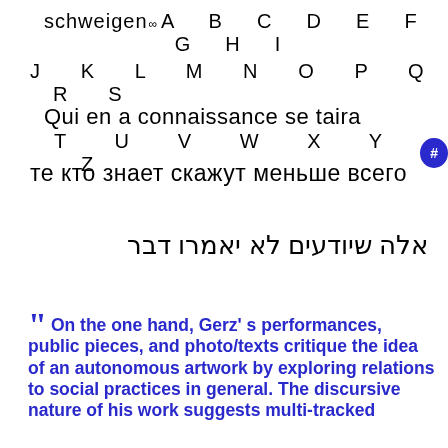schweigen ∞A B C D E F G H I
J K L M N O P Q R S
Qui en a connaissance se taira
T U V W X Y Z #
те кто знает скажут меньше всего
אלה שיודעים לא יאמרו דבר
" On the one hand, Gerz' s performances, public pieces, and photo/texts critique the idea of an autonomous artwork by exploring relations to social practices in general. The discursive nature of his work suggests multi-tracked